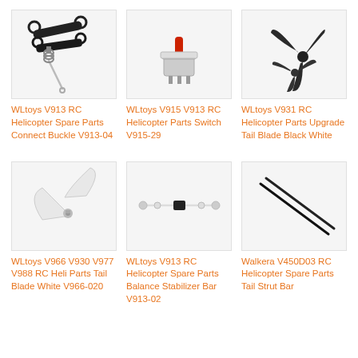[Figure (photo): WLtoys V913 RC Helicopter Spare Parts Connect Buckle - metal rod connectors and linkage parts on white background]
WLtoys V913 RC Helicopter Spare Parts Connect Buckle V913-04
[Figure (photo): WLtoys V915 V913 RC Helicopter Parts Switch V915-29 - small red and silver slide switch on white background]
WLtoys V915 V913 RC Helicopter Parts Switch V915-29
[Figure (photo): WLtoys V931 RC Helicopter Parts Upgrade Tail Blade - black tri-blade propeller on white background]
WLtoys V931 RC Helicopter Parts Upgrade Tail Blade Black White
[Figure (photo): WLtoys V966 V930 V977 V988 RC Heli Parts Tail Blade White - pair of white tail rotor blades]
WLtoys V966 V930 V977 V988 RC Heli Parts Tail Blade White V966-020
[Figure (photo): WLtoys V913 RC Helicopter Spare Parts Balance Stabilizer Bar V913-02 - long thin bar with weights]
WLtoys V913 RC Helicopter Spare Parts Balance Stabilizer Bar V913-02
[Figure (photo): Walkera V450D03 RC Helicopter Spare Parts Tail Strut Bar - two thin black carbon fiber rods]
Walkera V450D03 RC Helicopter Spare Parts Tail Strut Bar